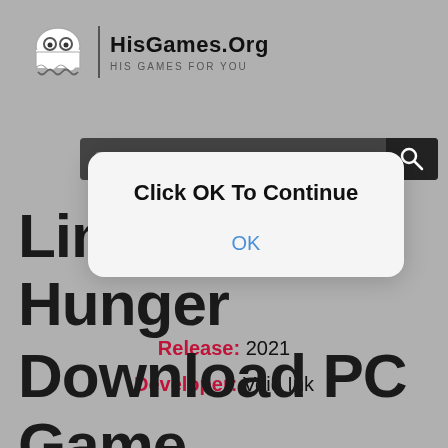[Figure (logo): HisGames.Org ghost logo with site name and tagline HIS GAMES FOR YOU]
[Figure (screenshot): Search bar with dark background and magnifying glass icon]
Limitless Hunger Download PC Game
[Figure (screenshot): Dialog box overlay with text Click OK To Continue and an OK button]
Release: 2021
Developer: Void Ink